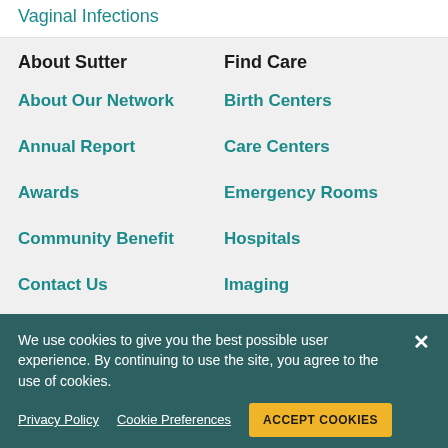Vaginal Infections
About Sutter
Find Care
About Our Network
Birth Centers
Annual Report
Care Centers
Awards
Emergency Rooms
Community Benefit
Hospitals
Contact Us
Imaging
News
Labs
We use cookies to give you the best possible user experience. By continuing to use the site, you agree to the use of cookies.
Privacy Policy
Cookie Preferences
ACCEPT COOKIES